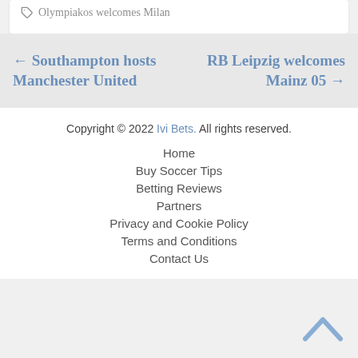Olympiakos welcomes Milan
← Southampton hosts Manchester United
RB Leipzig welcomes Mainz 05 →
Copyright © 2022 Ivi Bets. All rights reserved.
Home
Buy Soccer Tips
Betting Reviews
Partners
Privacy and Cookie Policy
Terms and Conditions
Contact Us